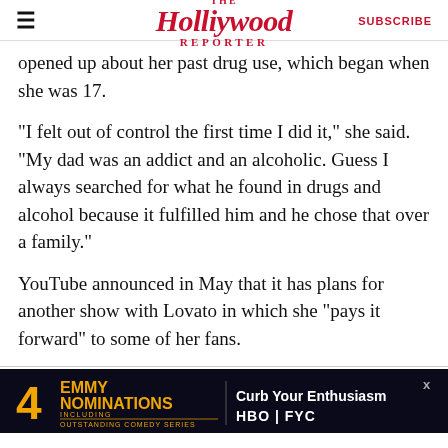The Hollywood Reporter | SUBSCRIBE
opened up about her past drug use, which began when she was 17.
“I felt out of control the first time I did it,” she said. “My dad was an addict and an alcoholic. Guess I always searched for what he found in drugs and alcohol because it fulfilled him and he chose that over a family.”
YouTube announced in May that it has plans for another show with Lovato in which she “pays it forward” to some of her fans.
[Figure (infographic): Advertisement banner: 4 Emmy Nominations including Outstanding Comedy Series - Curb Your Enthusiasm - HBO FYC]